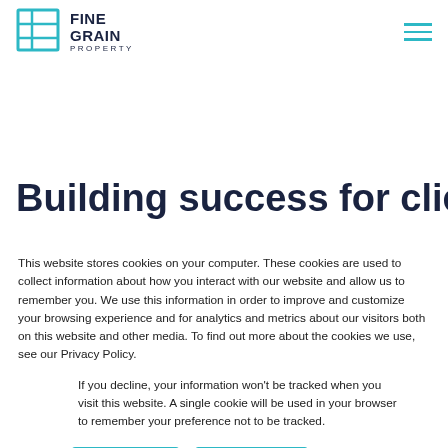[Figure (logo): Fine Grain Property logo with teal grid icon and bold text]
Building success for clients by
This website stores cookies on your computer. These cookies are used to collect information about how you interact with our website and allow us to remember you. We use this information in order to improve and customize your browsing experience and for analytics and metrics about our visitors both on this website and other media. To find out more about the cookies we use, see our Privacy Policy.
If you decline, your information won't be tracked when you visit this website. A single cookie will be used in your browser to remember your preference not to be tracked.